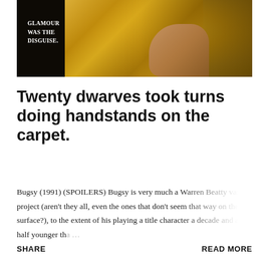[Figure (photo): Movie promotional image showing a person in a gold glittery dress against a dark background, with the text overlay 'Glamour Was The Disguise.' in white serif font on the dark left portion.]
Twenty dwarves took turns doing handstands on the carpet.
January 16, 2020
Bugsy (1991) (SPOILERS) Bugsy is very much a Warren Beatty vanity project (aren't they all, even the ones that don't seem that way on the surface?), to the extent of his playing a title character a decade and a half younger tha…
SHARE
READ MORE